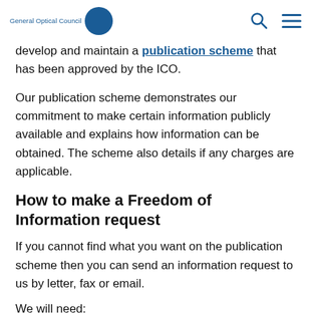General Optical Council
develop and maintain a publication scheme that has been approved by the ICO.
Our publication scheme demonstrates our commitment to make certain information publicly available and explains how information can be obtained. The scheme also details if any charges are applicable.
How to make a Freedom of Information request
If you cannot find what you want on the publication scheme then you can send an information request to us by letter, fax or email.
We will need: